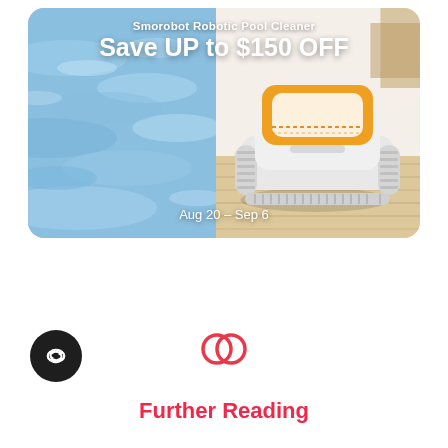[Figure (photo): Promotional advertisement banner for Smorobot Robotic Pool Cleaner showing a white and orange robotic pool cleaner on a wood floor on the right side, and blue pool water on the left side. Text overlay reads 'Smorobot Robotic Pool Cleaner Save UP to $150 OFF' with date 'Aug 20 – Sep 6'.]
[Figure (logo): Two interlocking circle arcs logo icon in coral/red color, resembling a share or link symbol.]
Further Reading